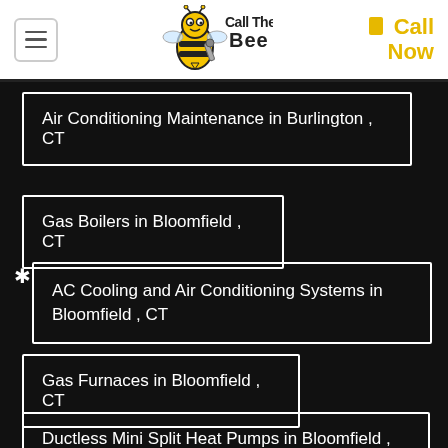[Figure (logo): Call The Bee logo with cartoon bee mascot holding a wrench]
Call Now
Air Conditioning Maintenance in Burlington , CT
Gas Boilers in Bloomfield , CT
AC Cooling and Air Conditioning Systems in Bloomfield , CT
Gas Furnaces in Bloomfield , CT
Ductless Mini Split Heat Pumps in Bloomfield , CT